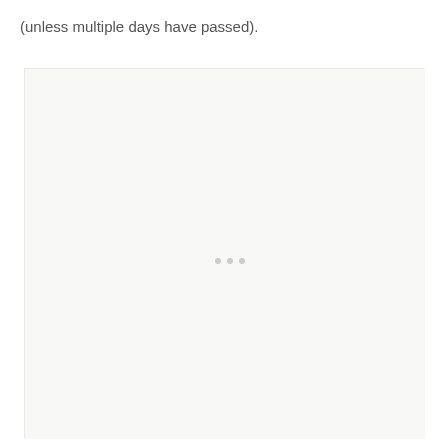(unless multiple days have passed).
[Figure (other): A large light gray/white rectangular placeholder box with faint dots in the center, indicating an embedded image or media element.]